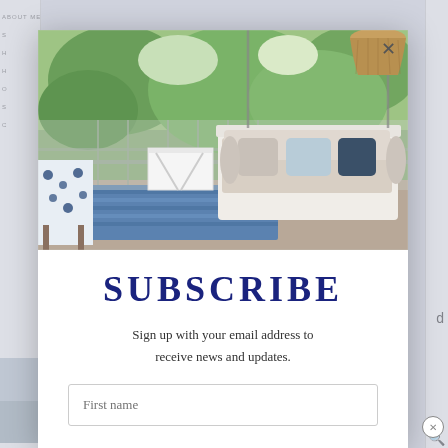[Figure (photo): Screenshot of a website with a popup modal. Background shows navigation links (ABOUT ME, SHOP, HOME, etc.) on the left side, and a search icon on the right. The modal overlays the page content.]
[Figure (photo): Photo inside modal: A screened-in porch with a white hanging daybed/swing loaded with beige, blue, and navy pillows. A white folding side table sits in front. A blue striped rug is on the floor. Lush green trees visible through the screens. A wicker pendant lamp hangs in the upper right corner.]
SUBSCRIBE
Sign up with your email address to receive news and updates.
First name